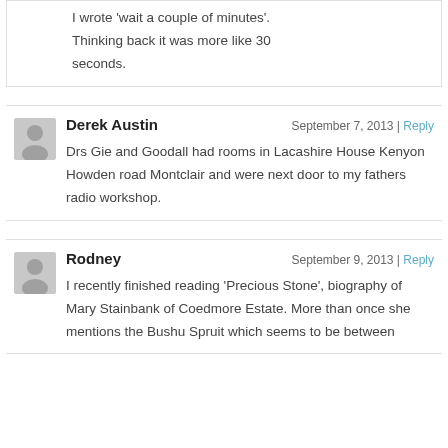I wrote 'wait a couple of minutes'. Thinking back it was more like 30 seconds.
Derek Austin
September 7, 2013 | Reply
Drs Gie and Goodall had rooms in Lacashire House Kenyon Howden road Montclair and were next door to my fathers radio workshop.
Rodney
September 9, 2013 | Reply
I recently finished reading 'Precious Stone', biography of Mary Stainbank of Coedmore Estate. More than once she mentions the Bushu Spruit which seems to be between